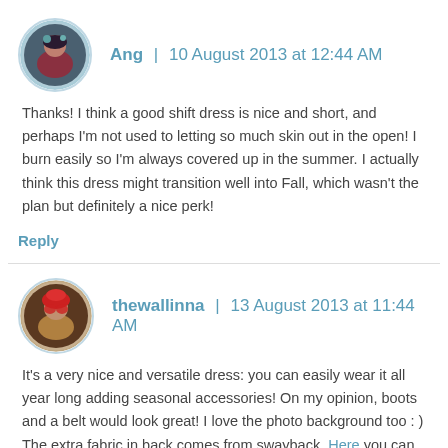[Figure (photo): Circular avatar photo of Ang with blue border]
Ang | 10 August 2013 at 12:44 AM
Thanks! I think a good shift dress is nice and short, and perhaps I'm not used to letting so much skin out in the open! I burn easily so I'm always covered up in the summer. I actually think this dress might transition well into Fall, which wasn't the plan but definitely a nice perk!
Reply
[Figure (photo): Circular avatar photo of thewallinna with subtle border]
thewallinna | 13 August 2013 at 11:44 AM
It's a very nice and versatile dress: you can easily wear it all year long adding seasonal accessories! On my opinion, boots and a belt would look great! I love the photo background too : ) The extra fabric in back comes from swayback. Here you can read about all possible alterations for this issue.